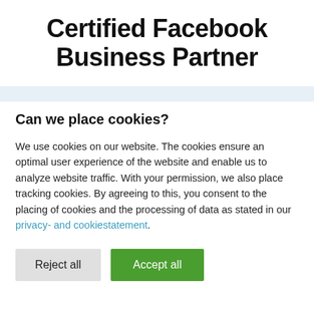Certified Facebook Business Partner
Can we place cookies?
We use cookies on our website. The cookies ensure an optimal user experience of the website and enable us to analyze website traffic. With your permission, we also place tracking cookies. By agreeing to this, you consent to the placing of cookies and the processing of data as stated in our privacy- and cookiestatement.
Reject all
Accept all